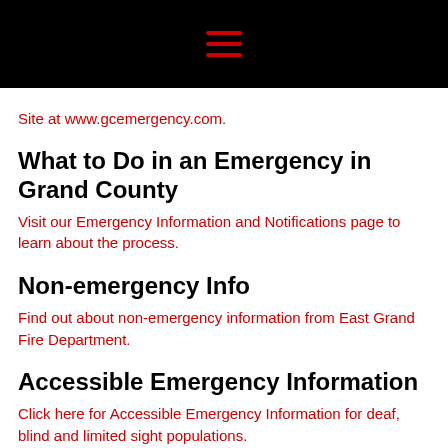hamburger menu icon
Site at www.gcemergency.com.
What to Do in an Emergency in Grand County
Visit our Emergency Information and Notifications page to learn about the process.
Non-emergency Info
Find out about non-emergency information from East Grand Fire Department.
Accessible Emergency Information
Click here for Accessible Emergency Information for deaf, blind and limited sight populations.
Burn Season Info
For burn season information, please refer to